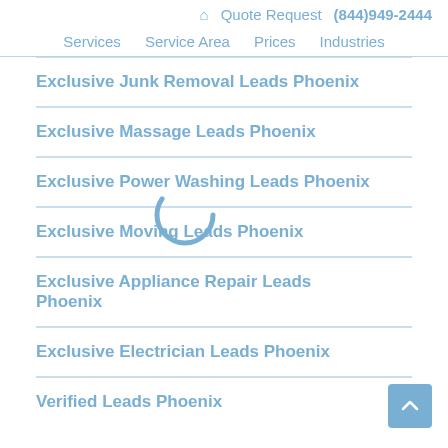🏠 Quote Request (844)949-2444 Services Service Area Prices Industries
Exclusive Junk Removal Leads Phoenix
Exclusive Massage Leads Phoenix
Exclusive Power Washing Leads Phoenix
Exclusive Moving Leads Phoenix
Exclusive Appliance Repair Leads Phoenix
Exclusive Electrician Leads Phoenix
Verified Leads Phoenix
[Figure (other): Loading spinner overlay (circular arc spinner in light blue)]